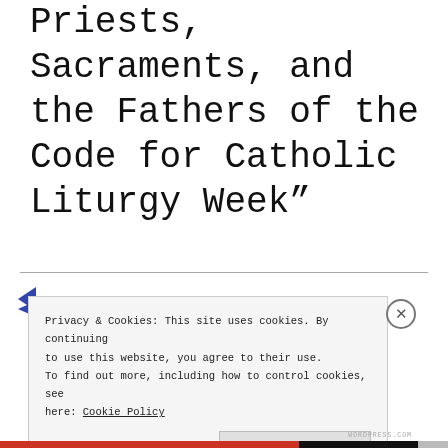Priests, Sacraments, and the Fathers of the Code for Catholic Liturgy Week”
Privacy & Cookies: This site uses cookies. By continuing to use this website, you agree to their use. To find out more, including how to control cookies, see here: Cookie Policy